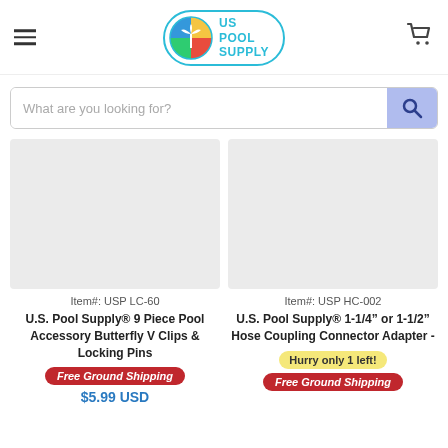[Figure (logo): US Pool Supply logo with palm tree icon inside colored circle, text reads US POOL SUPPLY in cyan]
What are you looking for?
[Figure (photo): Product image placeholder (light gray rectangle) for USP LC-60]
Item#: USP LC-60
U.S. Pool Supply® 9 Piece Pool Accessory Butterfly V Clips & Locking Pins
Free Ground Shipping
$5.99 USD
[Figure (photo): Product image placeholder (light gray rectangle) for USP HC-002]
Item#: USP HC-002
U.S. Pool Supply® 1-1/4" or 1-1/2" Hose Coupling Connector Adapter -
Hurry only 1 left!
Free Ground Shipping